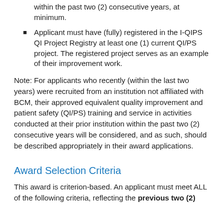within the past two (2) consecutive years, at minimum.
Applicant must have (fully) registered in the I-QIPS QI Project Registry at least one (1) current QI/PS project. The registered project serves as an example of their improvement work.
Note: For applicants who recently (within the last two years) were recruited from an institution not affiliated with BCM, their approved equivalent quality improvement and patient safety (QI/PS) training and service in activities conducted at their prior institution within the past two (2) consecutive years will be considered, and as such, should be described appropriately in their award applications.
Award Selection Criteria
This award is criterion-based. An applicant must meet ALL of the following criteria, reflecting the previous two (2)